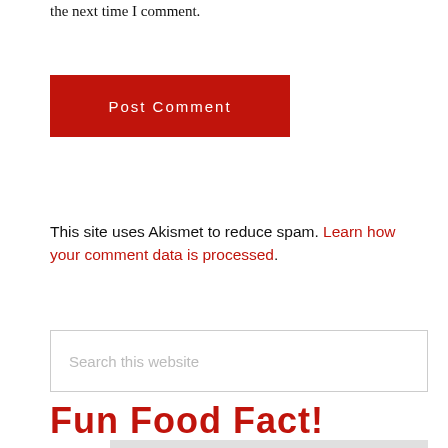the next time I comment.
Post Comment
This site uses Akismet to reduce spam. Learn how your comment data is processed.
Search this website
Fun Food Fact!